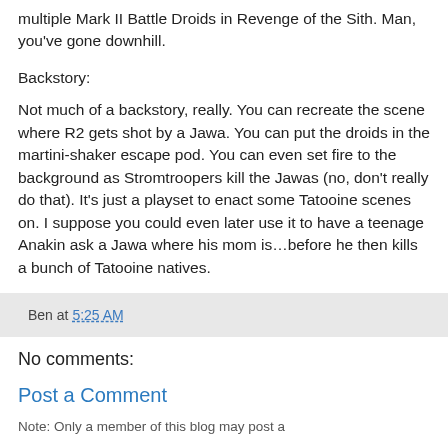multiple Mark II Battle Droids in Revenge of the Sith. Man, you've gone downhill.
Backstory:
Not much of a backstory, really. You can recreate the scene where R2 gets shot by a Jawa. You can put the droids in the martini-shaker escape pod. You can even set fire to the background as Stromtroopers kill the Jawas (no, don't really do that). It's just a playset to enact some Tatooine scenes on. I suppose you could even later use it to have a teenage Anakin ask a Jawa where his mom is…before he then kills a bunch of Tatooine natives.
Ben at 5:25 AM
No comments:
Post a Comment
Note: Only a member of this blog may post a